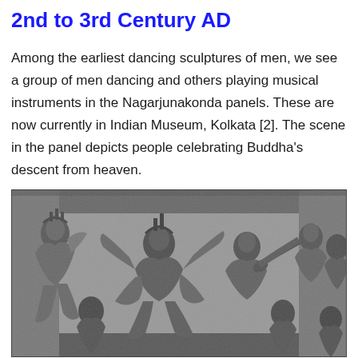2nd to 3rd Century AD
Among the earliest dancing sculptures of men, we see a group of men dancing and others playing musical instruments in the Nagarjunakonda panels. These are now currently in Indian Museum, Kolkata [2]. The scene in the panel depicts people celebrating Buddha's descent from heaven.
[Figure (photo): Black and white photograph of the Nagarjunakonda stone relief panel (2nd-3rd century AD) showing men dancing and playing musical instruments, currently in Indian Museum, Kolkata. The scene depicts people celebrating Buddha's descent from heaven.]